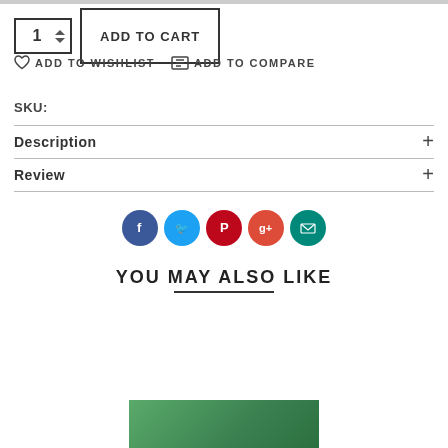1 [quantity spinner]
ADD TO CART
ADD TO WISHLIST  ADD TO COMPARE
SKU:
Description +
Review +
[Figure (infographic): Social sharing icons row: Facebook (blue), Twitter (light blue), Pinterest (red), Google+ (red-orange), Email (teal)]
YOU MAY ALSO LIKE
[Figure (photo): Product photo partially visible at bottom - green object on dark background]